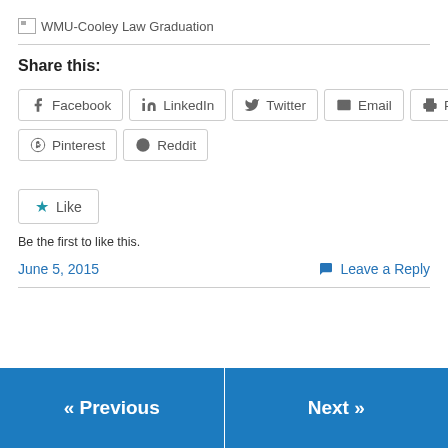[Figure (photo): Broken image placeholder for WMU-Cooley Law Graduation]
Share this:
Facebook
LinkedIn
Twitter
Email
Print
Pinterest
Reddit
Like
Be the first to like this.
June 5, 2015
Leave a Reply
« Previous
Next »